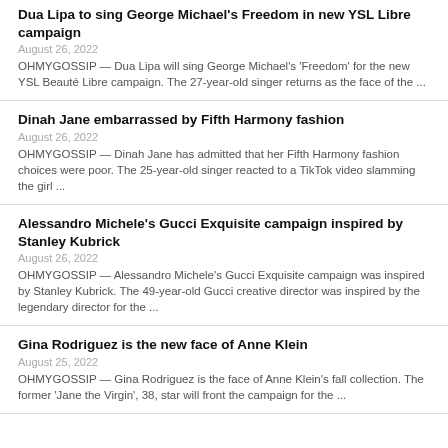Dua Lipa to sing George Michael's Freedom in new YSL Libre campaign
August 26, 2022
OHMYGOSSIP — Dua Lipa will sing George Michael's 'Freedom' for the new YSL Beauté Libre campaign. The 27-year-old singer returns as the face of the ...
Dinah Jane embarrassed by Fifth Harmony fashion
August 26, 2022
OHMYGOSSIP — Dinah Jane has admitted that her Fifth Harmony fashion choices were poor. The 25-year-old singer reacted to a TikTok video slamming the girl ...
Alessandro Michele's Gucci Exquisite campaign inspired by Stanley Kubrick
August 26, 2022
OHMYGOSSIP — Alessandro Michele's Gucci Exquisite campaign was inspired by Stanley Kubrick. The 49-year-old Gucci creative director was inspired by the legendary director for the ...
Gina Rodriguez is the new face of Anne Klein
August 25, 2022
OHMYGOSSIP — Gina Rodriguez is the face of Anne Klein's fall collection. The former 'Jane the Virgin', 38, star will front the campaign for the ...